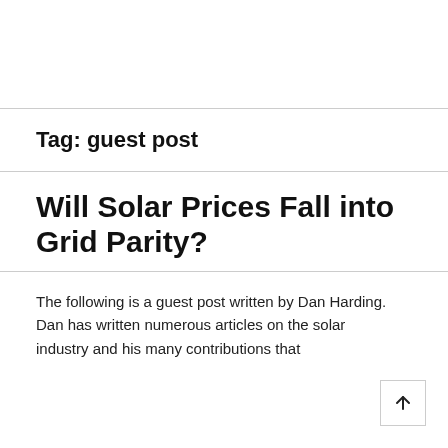Tag: guest post
Will Solar Prices Fall into Grid Parity?
The following is a guest post written by Dan Harding. Dan has written numerous articles on the solar industry and his many contributions that